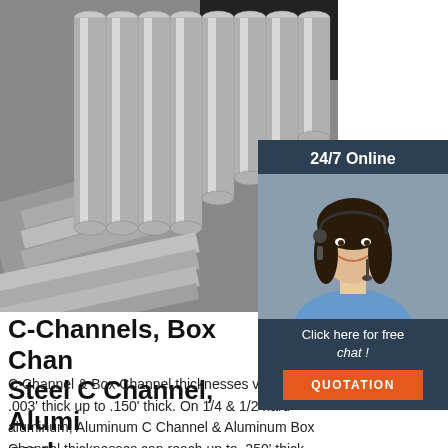[Figure (photo): Stack of aluminum/steel round bars and flat bars bundled together, silver metallic color]
[Figure (photo): 24/7 Online widget: dark navy background with a smiling female customer service agent wearing a headset, with 'Click here for free chat!' text and an orange QUOTATION button]
C-Channels, Box Channels, Steel C Channel, Aluminum and ...
C Channel & Box Channel thicknesses vary from .003' thick up to .150' thick. On 1/4 & 1/2 hard aluminum, Aluminum C Channel & Aluminum Box Channel thicknesses can reach up to .250' thick.